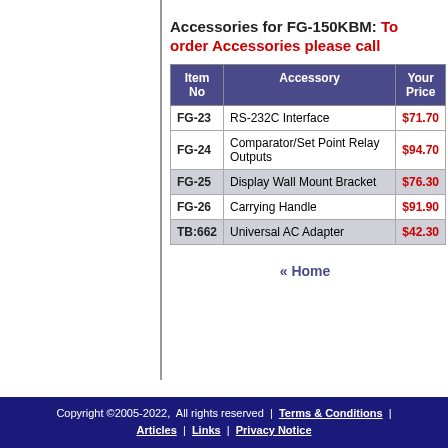Accessories for FG-150KBM: To order Accessories please call
| Item No | Accessory | Your Price |
| --- | --- | --- |
| FG-23 | RS-232C Interface | $71.70 |
| FG-24 | Comparator/Set Point Relay Outputs | $94.70 |
| FG-25 | Display Wall Mount Bracket | $76.30 |
| FG-26 | Carrying Handle | $91.90 |
| TB:662 | Universal AC Adapter | $42.30 |
« Home
Copyright ©2005-2022, All rights reserved | Terms & Conditions | Articles | Links | Privacy Notice